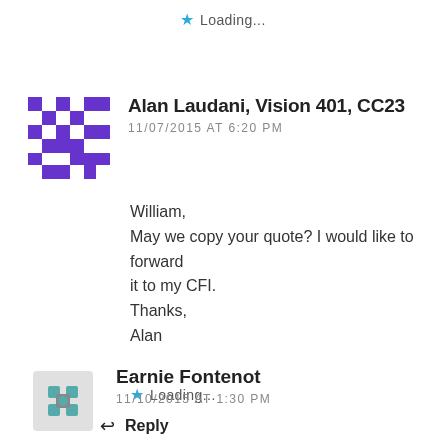Loading...
Alan Laudani, Vision 401, CC23
11/07/2015 AT 6:20 PM
William,
May we copy your quote? I would like to forward it to my CFI.
Thanks,
Alan
Loading...
Reply
Earnie Fontenot
11/10/2015 AT 1:30 PM